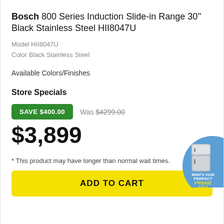Bosch 800 Series Induction Slide-in Range 30'' Black Stainless Steel HII8047U
Model HII8047U
Color Black Stainless Steel
Available Colors/Finishes
Store Specials
SAVE $400.00   Was $4299.00
$3,899
* This product may have longer than normal wait times.
ADD TO CART